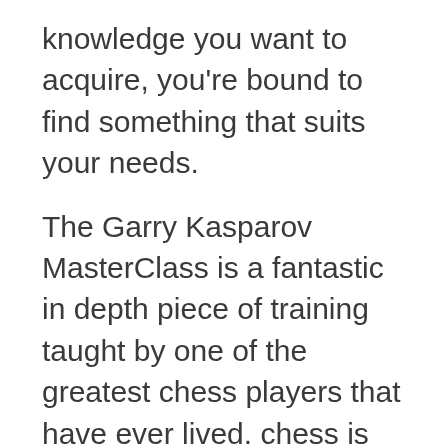knowledge you want to acquire, you're bound to find something that suits your needs.
The Garry Kasparov MasterClass is a fantastic in depth piece of training taught by one of the greatest chess players that have ever lived. chess is one of the best hobbies you can pick up, great minds such as Stanley Kubrick played chess, it's an excellent game for exercising your mind and improving your decision making in every area of your life.
Knowing as many skills as possible